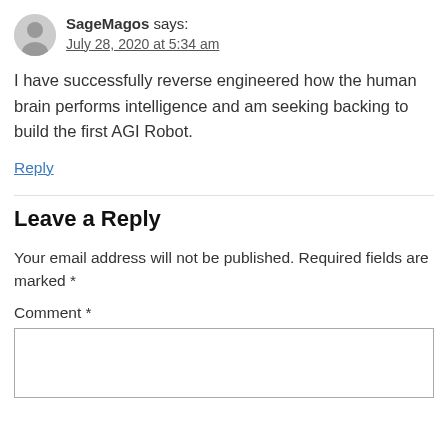[Figure (other): User avatar silhouette icon in grey circle]
SageMagos says:
July 28, 2020 at 5:34 am
I have successfully reverse engineered how the human brain performs intelligence and am seeking backing to build the first AGI Robot.
Reply
Leave a Reply
Your email address will not be published. Required fields are marked *
Comment *